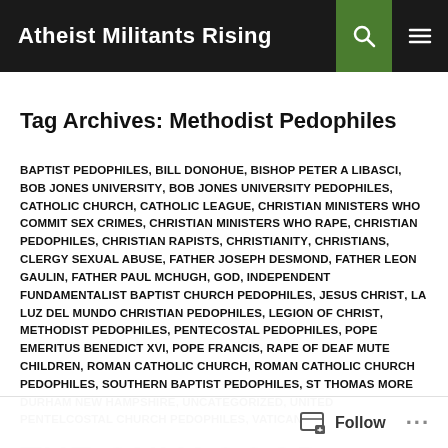Atheist Militants Rising
Tag Archives: Methodist Pedophiles
BAPTIST PEDOPHILES, BILL DONOHUE, BISHOP PETER A LIBASCI, BOB JONES UNIVERSITY, BOB JONES UNIVERSITY PEDOPHILES, CATHOLIC CHURCH, CATHOLIC LEAGUE, CHRISTIAN MINISTERS WHO COMMIT SEX CRIMES, CHRISTIAN MINISTERS WHO RAPE, CHRISTIAN PEDOPHILES, CHRISTIAN RAPISTS, CHRISTIANITY, CHRISTIANS, CLERGY SEXUAL ABUSE, FATHER JOSEPH DESMOND, FATHER LEON GAULIN, FATHER PAUL MCHUGH, GOD, INDEPENDENT FUNDAMENTALIST BAPTIST CHURCH PEDOPHILES, JESUS CHRIST, LA LUZ DEL MUNDO CHRISTIAN PEDOPHILES, LEGION OF CHRIST, METHODIST PEDOPHILES, PENTECOSTAL PEDOPHILES, POPE EMERITUS BENEDICT XVI, POPE FRANCIS, RAPE OF DEAF MUTE CHILDREN, ROMAN CATHOLIC CHURCH, ROMAN CATHOLIC CHURCH PEDOPHILES, SOUTHERN BAPTIST PEDOPHILES, ST THOMAS MORE DURHAM NEW HAMPSHIRE, UNCATEGORIZED, UNITED PENTELCOSTAL CHURCH PEDOPHILES, VATICAN
THE ONLY GOOD…